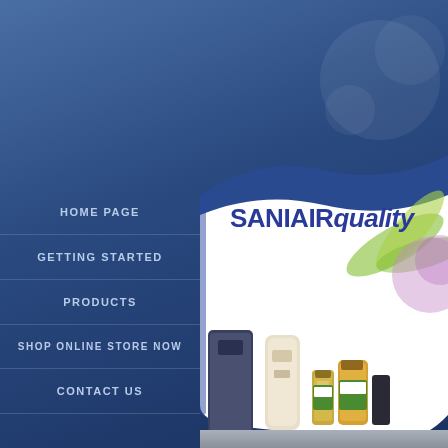[Figure (screenshot): Website homepage screenshot for SANIAIRquality showing a blue gradient background with left navigation menu and right product banner with curved white panel showing the SANIAIRquality logo and product images including dispensers and bottles]
HOME PAGE
GETTING STARTED
PRODUCTS
SHOP ONLINE STORE NOW
CONTACT US
SANIAIRquality